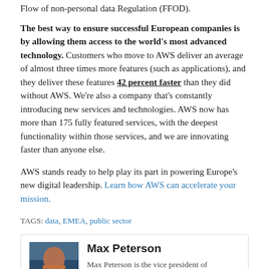Flow of non-personal data Regulation (FFOD).
The best way to ensure successful European companies is by allowing them access to the world's most advanced technology. Customers who move to AWS deliver an average of almost three times more features (such as applications), and they deliver these features 42 percent faster than they did without AWS. We're also a company that's constantly introducing new services and technologies. AWS now has more than 175 fully featured services, with the deepest functionality within those services, and we are innovating faster than anyone else.
AWS stands ready to help play its part in powering Europe's new digital leadership. Learn how AWS can accelerate your mission.
TAGS: data, EMEA, public sector
Max Peterson
Max Peterson is the vice president of worldwide public